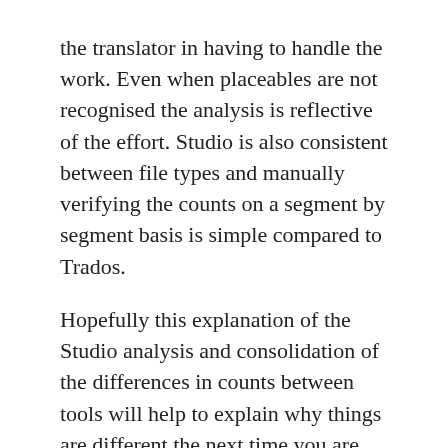the translator in having to handle the work.  Even when placeables are not recognised the analysis is reflective of the effort.  Studio is also consistent between file types and manually verifying the counts on a segment by segment basis is simple compared to Trados.
Hopefully this explanation of the Studio analysis and consolidation of the differences in counts between tools will help to explain why things are different the next time you are asked why.  It may not help to resolve how you are actually paid and this is where the difficulties come from... and is another, less technical reason, why vendors often prefer translators to use the same tools throughout the supply chain.  There isn't an easy answer to a dispute over counts, only fair and sensible compromise... although you could consider an independent tool for